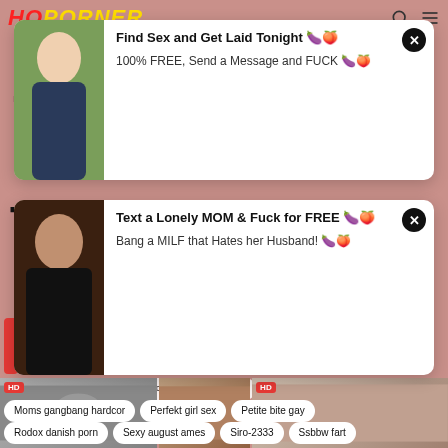HOPORNER
[Figure (screenshot): Popup ad: Find Sex and Get Laid Tonight, 100% FREE, Send a Message and FUCK]
[Figure (screenshot): Popup ad: Text a Lonely MOM & Fuck for FREE, Bang a MILF that Hates her Husband!]
Moms gangbang hardcor
Perfekt girl sex
Petite bite gay
Rodox danish porn
Sexy august ames
Siro-2333
Ssbbw fart
Torbe folladas
Vvideos porno
Xevdaz com
Xxx video dawunlod
Xxx xexo gratis
[Figure (screenshot): Video thumbnails row with HD badges]